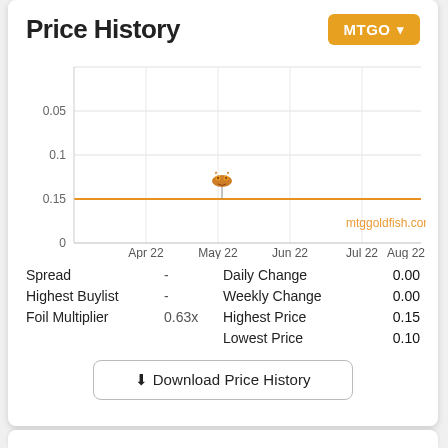Price History
[Figure (line-chart): Line chart showing MTGO price history from Apr 22 to Aug 22, with a flat orange horizontal line at 0.15. A fish icon appears near May 22. Watermark: mtggoldfish.com. Y-axis: 0, 0.05, 0.1, 0.15.]
Spread - Daily Change 0.00
Highest Buylist - Weekly Change 0.00
Foil Multiplier 0.63x Highest Price 0.15
Lowest Price 0.10
Download Price History